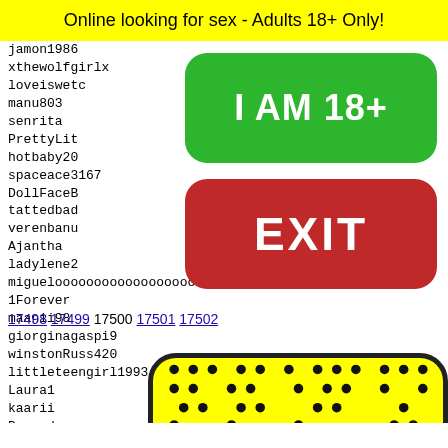Online looking for sex - Adults 18+ Only!
jamon1986
xthewolfgirlx
loveiswetc
manu803
senrita
PrettyLit
hotbaby20
spaceace3167
DollFaceB
tattedbad
verenbanu
Ajantha
ladylene2
migueloooooooooooooooooo
1Forever
maanii98
giorginagaspi9
winstonRuss420
littleteengirl1993
Laura1
kaarii
Beyond
Alona2
mygfny
bxtcvh
[Figure (other): Green button with text I AM 18+]
[Figure (other): Red EXIT button]
17498 17499 17500 17501 17502
[Figure (illustration): Yellow Snapchat-style ghost emoji face with black dots pattern and bow tie, on yellow background with black rounded border]